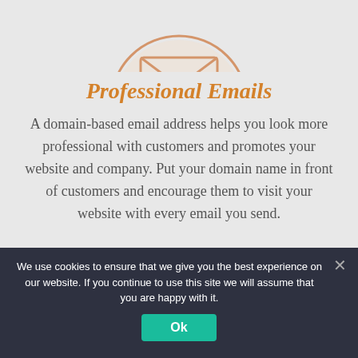[Figure (illustration): Partial circular icon with envelope/email symbol, peach/salmon color, cropped at top of page]
Professional Emails
A domain-based email address helps you look more professional with customers and promotes your website and company. Put your domain name in front of customers and encourage them to visit your website with every email you send.
We use cookies to ensure that we give you the best experience on our website. If you continue to use this site we will assume that you are happy with it.